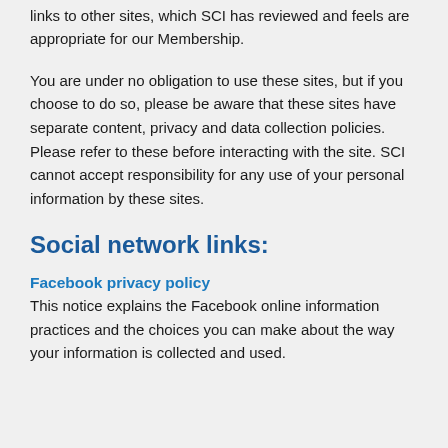links to other sites, which SCI has reviewed and feels are appropriate for our Membership.
You are under no obligation to use these sites, but if you choose to do so, please be aware that these sites have separate content, privacy and data collection policies. Please refer to these before interacting with the site. SCI cannot accept responsibility for any use of your personal information by these sites.
Social network links:
Facebook privacy policy
This notice explains the Facebook online information practices and the choices you can make about the way your information is collected and used.